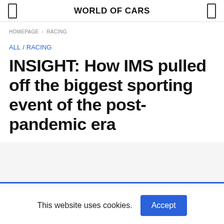WORLD OF CARS
HOMEPAGE › RACING
ALL / RACING
INSIGHT: How IMS pulled off the biggest sporting event of the post-pandemic era
This website uses cookies. Accept